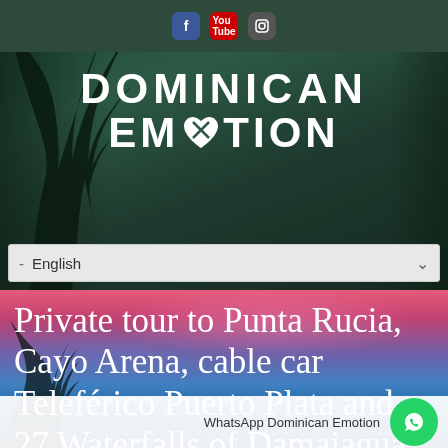[Figure (screenshot): Dominican Emotion travel website screenshot showing logo, language selector, and hero section with tour title]
DOMINICAN EMOTION
- English
Private tour to Punta Rucia, Cayo Arena, cable car Teleférico Puerto Plata and 27 Waterfalls of Damajagua (2 days/1 night)
WhatsApp Dominican Emotion